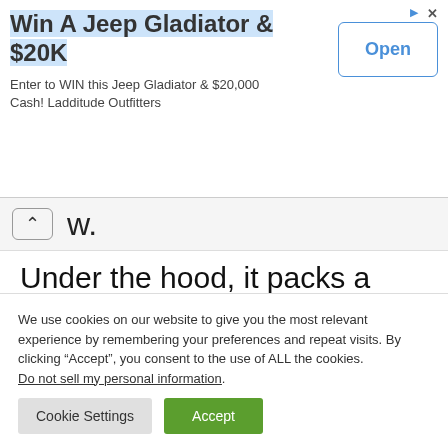[Figure (screenshot): Advertisement banner: 'Win A Jeep Gladiator & $20K' with Open button]
w.
Under the hood, it packs a 25,600 mAh/93.5 Wh lithium battery pack and a circuitry that could potentially charged up a 4,000 mAh
We use cookies on our website to give you the most relevant experience by remembering your preferences and repeat visits. By clicking “Accept”, you consent to the use of ALL the cookies. Do not sell my personal information.